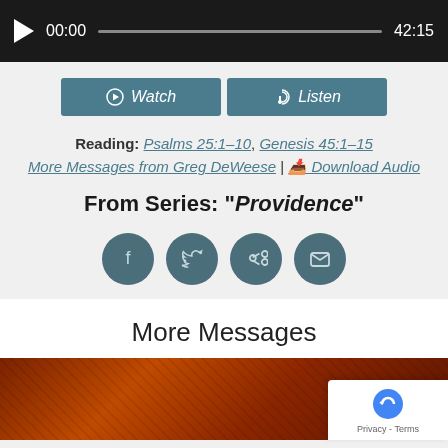[Figure (screenshot): Audio player bar with play button, time 00:00, progress bar, and duration 42:15]
[Figure (screenshot): Watch and Listen buttons in teal/dark blue-green color]
Reading: Psalms 25:1-10, Genesis 45:1-15
More Messages from Greg DeWeese | Download Audio
From Series: "Providence"
[Figure (infographic): Four circular social share icons: Facebook, Twitter, Share/Forward, Email]
More Messages
[Figure (photo): Reddish-orange textured leaf or surface image at bottom of page with reCAPTCHA privacy badge overlay]